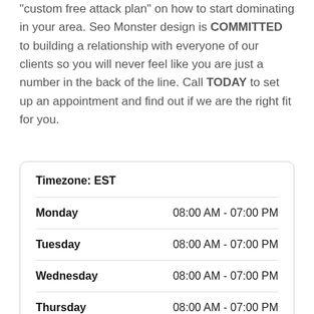"custom free attack plan" on how to start dominating in your area. Seo Monster design is COMMITTED to building a relationship with everyone of our clients so you will never feel like you are just a number in the back of the line. Call TODAY to set up an appointment and find out if we are the right fit for you.
| Day | Hours |
| --- | --- |
| Monday | 08:00 AM - 07:00 PM |
| Tuesday | 08:00 AM - 07:00 PM |
| Wednesday | 08:00 AM - 07:00 PM |
| Thursday | 08:00 AM - 07:00 PM |
| Friday | 08:00 AM - 07:00 PM |